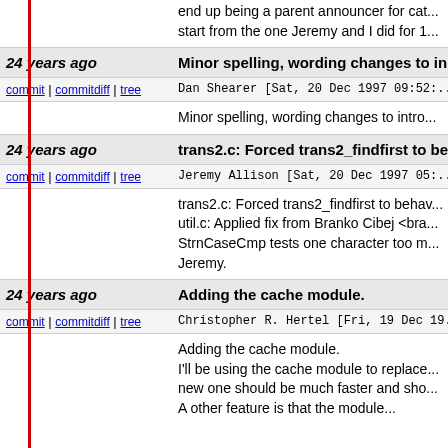end up being a parent announcer for cat... start from the one Jeremy and I did for 1...
24 years ago  Minor spelling, wording changes to in...
commit | commitdiff | tree   Dan Shearer [Sat, 20 Dec 1997 09:52:...
Minor spelling, wording changes to intro...
24 years ago  trans2.c: Forced trans2_findfirst to be...
commit | commitdiff | tree   Jeremy Allison [Sat, 20 Dec 1997 05:...
trans2.c: Forced trans2_findfirst to behav... util.c: Applied fix from Branko Cibej <bra... StrnCaseCmp tests one character too m... Jeremy.
24 years ago  Adding the cache module.
commit | commitdiff | tree   Christopher R. Hertel [Fri, 19 Dec 19...
Adding the cache module. I'll be using the cache module to replace... new one should be much faster and sho... A other feature is that the module...